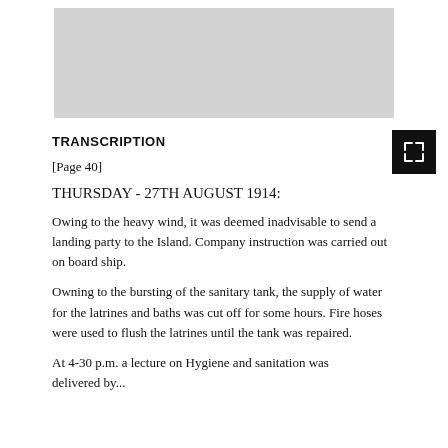[Figure (photo): Greyed out image placeholder at top of page]
TRANSCRIPTION
[Page 40]
THURSDAY - 27TH AUGUST 1914:
Owing to the heavy wind, it was deemed inadvisable to send a landing party to the Island. Company instruction was carried out on board ship.
Owning to the bursting of the sanitary tank, the supply of water for the latrines and baths was cut off for some hours. Fire hoses were used to flush the latrines until the tank was repaired.
At 4-30 p.m. a lecture on Hygiene and sanitation was delivered by...